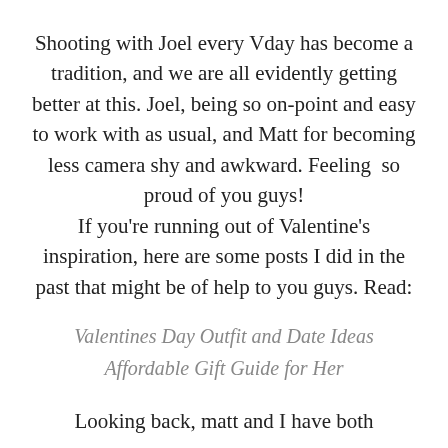Shooting with Joel every Vday has become a tradition, and we are all evidently getting better at this. Joel, being so on-point and easy to work with as usual, and Matt for becoming less camera shy and awkward. Feeling  so proud of you guys! If you're running out of Valentine's inspiration, here are some posts I did in the past that might be of help to you guys. Read:
Valentines Day Outfit and Date Ideas
Affordable Gift Guide for Her
Looking back, matt and I have both